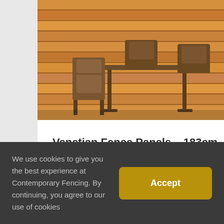[Figure (photo): Photo of outdoor wooden furniture (chairs and table) against a horizontal wood panel wall in warm reddish-brown tones.]
Venetian Fence Panels – 183cm W - Treated Redwood
£30.00 – + vat – £150.00 + vat
We use cookies to give you the best experience at Contemporary Fencing. By continuing, you agree to our use of cookies
Accept